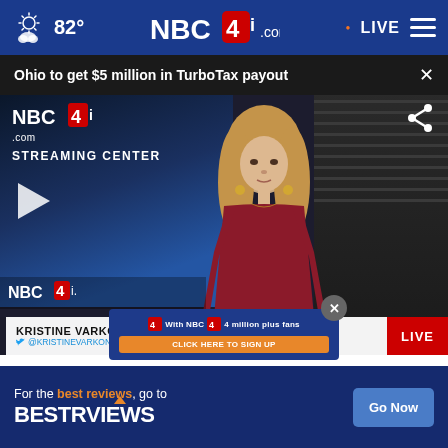82° NBC4i.com LIVE
Ohio to get $5 million in TurboTax payout
[Figure (screenshot): NBC4i news broadcast screenshot showing female anchor Kristine Varkony in a red dress at a news desk with NBC4i streaming center background. A play button overlay is visible. Lower-third graphic shows 'KRISTINE VARKONY @KRISTINEVARKONY' with a LIVE red badge.]
For the best reviews, go to BESTREVIEWS Go Now